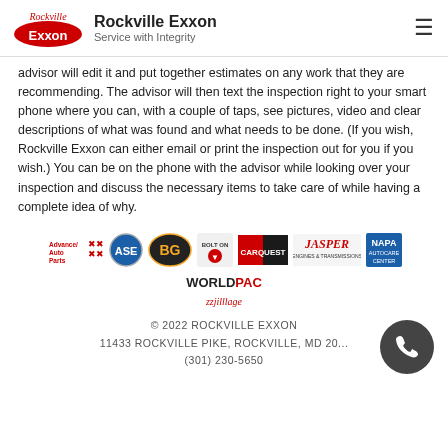Rockville Exxon — Service with Integrity
advisor will edit it and put together estimates on any work that they are recommending. The advisor will then text the inspection right to your smart phone where you can, with a couple of taps, see pictures, video and clear descriptions of what was found and what needs to be done. (If you wish, Rockville Exxon can either email or print the inspection out for you if you wish.) You can be on the phone with the advisor while looking over your inspection and discuss the necessary items to take care of while having a complete idea of why.
[Figure (logo): Partner logos: Advance Auto Parts, ASE, BG, Bolt On, Carquest, Jasper Engines & Transmissions, NAPA AutoCare Center, WorldPac, and one more logo]
© 2022 ROCKVILLE EXXON
11433 ROCKVILLE PIKE, ROCKVILLE, MD 20
(301) 230-5650